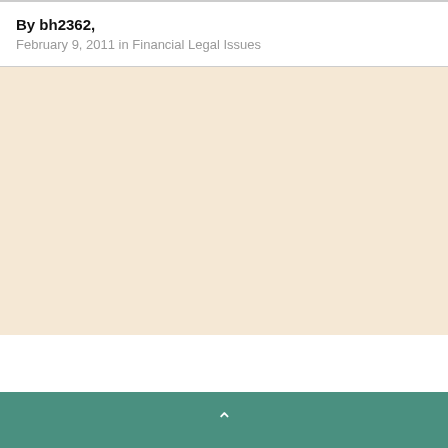By bh2362,
February 9, 2011 in Financial Legal Issues
^